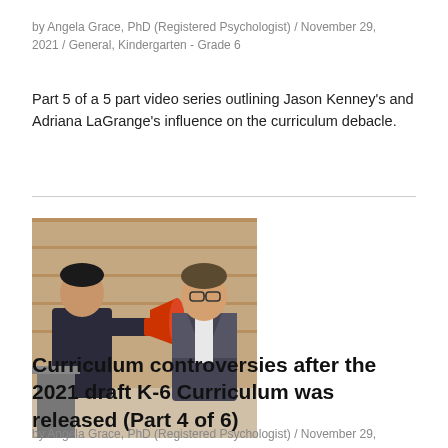by Angela Grace, PhD (Registered Psychologist) / November 29, 2021 / General, Kindergarten - Grade 6
Part 5 of a 5 part video series outlining Jason Kenney's and Adriana LaGrange's influence on the curriculum debacle.
[Figure (photo): Two people: one holding a megaphone up to another person's ear, standing in front of a wooden wall background.]
Curriculum controversies after the 2021 draft K-6 Curriculum was released (Part 4 of 6)
by Angela Grace, PhD (Registered Psychologist) / November 29,